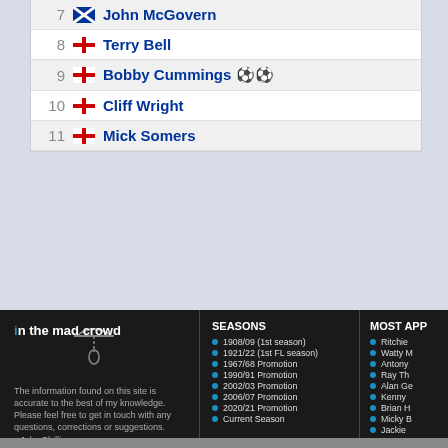7 John McGovern
8 Terry Bell
9 Bobby Cummings ⚽⚽
10 Cliff Wright
11 Mick Somers
7 Bobby C
8 Brian Ti
9 Tommy
10 Derek T
11 Eddie H
[Figure (logo): In the mad crowd website logo with hangman graphic]
The information found on this site is accurate to the best of my knowledge. Please feel free to get in touch with any questions, corrections or suggestions. - John Phillips
contact me
SEASONS
1908/09 (1st season)
1921/22 (1st FL season)
1967/68 Promotion
1990/91 Promotion
2002/03 Promotion
2006/07 Promotion
2020/21 Promotion
Current Season
MOST APP
Ritchie
Watty M
Antony
Ray Th
Alan Ge
Kenny
Brian H
Micky B
Jackie
Tommy